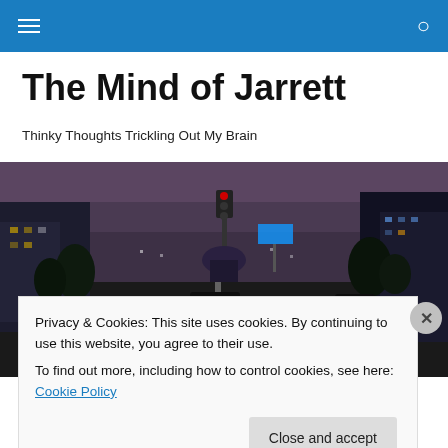Navigation bar with hamburger menu and search icon
The Mind of Jarrett
Thinky Thoughts Trickling Out My Brain
[Figure (photo): Night city street scene with cars and traffic lights, domed building in background]
Privacy & Cookies: This site uses cookies. By continuing to use this website, you agree to their use.
To find out more, including how to control cookies, see here: Cookie Policy

[Close and accept]